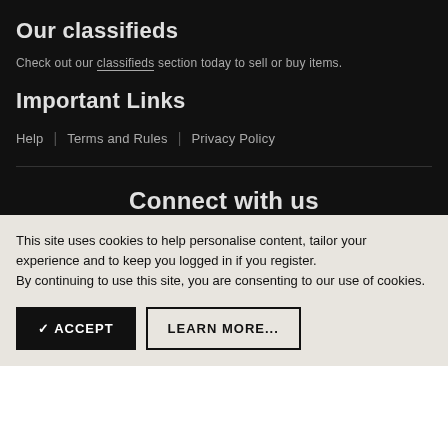Our classifieds
Check out our classifieds section today to sell or buy items.
Important Links
Help | Terms and Rules | Privacy Policy
Connect with us
This site uses cookies to help personalise content, tailor your experience and to keep you logged in if you register.
By continuing to use this site, you are consenting to our use of cookies.
✓ ACCEPT   LEARN MORE...